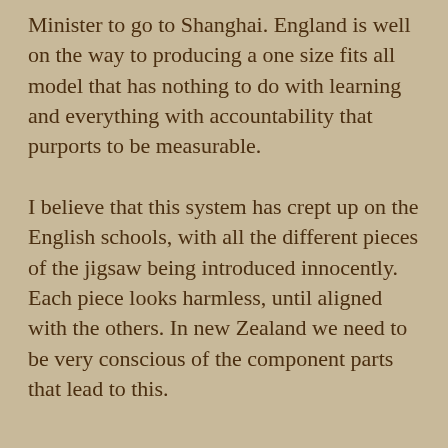Minister to go to Shanghai. England is well on the way to producing a one size fits all model that has nothing to do with learning and everything with accountability that purports to be measurable.
I believe that this system has crept up on the English schools, with all the different pieces of the jigsaw being introduced innocently. Each piece looks harmless, until aligned with the others. In new Zealand we need to be very conscious of the component parts that lead to this.